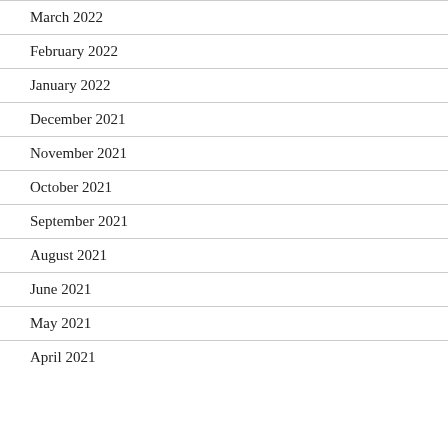March 2022
February 2022
January 2022
December 2021
November 2021
October 2021
September 2021
August 2021
June 2021
May 2021
April 2021